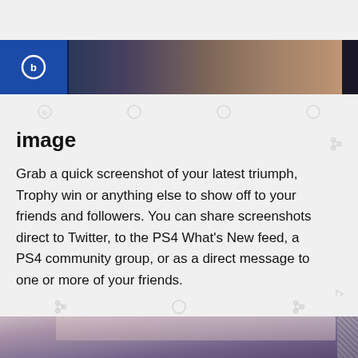[Figure (screenshot): Top portion of a PS4 screenshot sharing interface showing a game image strip with blue PlayStation icon block on left and game artwork on right]
image
Grab a quick screenshot of your latest triumph, Trophy win or anything else to show off to your friends and followers. You can share screenshots direct to Twitter, to the PS4 What's New feed, a PS4 community group, or as a direct message to one or more of your friends.
[Figure (screenshot): Bottom portion showing a game screenshot with fantasy/action artwork partially visible]